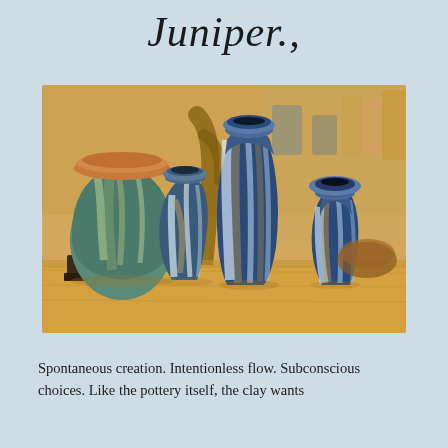Juniper.,
[Figure (photo): A collection of ceramic vases and pottery with blue, white, and earth-tone glaze patterns displayed on a wooden surface in a shop setting. A large rounded jar with a wooden lid sits on the left, a medium rounded vase in the center-left, a tall slender vase in the center, and a smaller rounded vase on the right. A driftwood piece is visible in the background.]
Spontaneous creation. Intentionless flow. Subconscious choices. Like the pottery itself, the clay wants